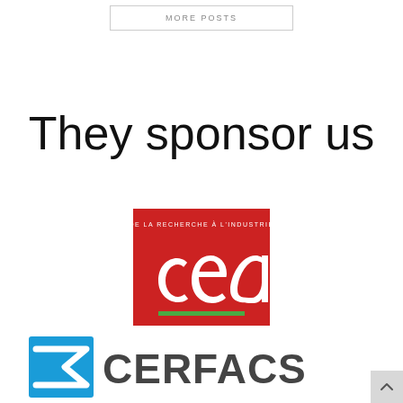MORE POSTS
They sponsor us
[Figure (logo): CEA logo — red square background with white cursive 'cea' text, tagline 'DE LA RECHERCHE À L'INDUSTRIE', and green horizontal bar]
[Figure (logo): CERFACS logo — blue stylized sigma symbol on left, dark gray CERFACS text on right]